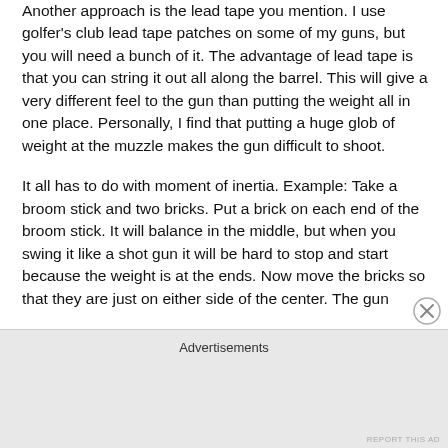Another approach is the lead tape you mention. I use golfer's club lead tape patches on some of my guns, but you will need a bunch of it. The advantage of lead tape is that you can string it out all along the barrel. This will give a very different feel to the gun than putting the weight all in one place. Personally, I find that putting a huge glob of weight at the muzzle makes the gun difficult to shoot.
It all has to do with moment of inertia. Example: Take a broom stick and two bricks. Put a brick on each end of the broom stick. It will balance in the middle, but when you swing it like a shot gun it will be hard to stop and start because the weight is at the ends. Now move the bricks so that they are just on either side of the center. The gun
Advertisements